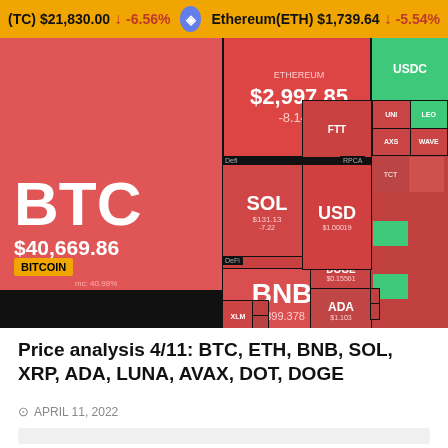[Figure (infographic): Cryptocurrency market heatmap showing BTC at $40,669.86 (-4.88%), ETH at $2,997.85 (-8.14%), BNB at $399.378, SOL, LUNA, XRP, ADA, AVAX, DOT, DOGE and other tokens in red/green colored blocks indicating price changes]
(TC) $21,830.00 ↓ -6.56%  Ethereum(ETH) $1,739.64 ↓ -5.54%
Price analysis 4/11: BTC, ETH, BNB, SOL, XRP, ADA, LUNA, AVAX, DOT, DOGE
APRIL 11, 2022